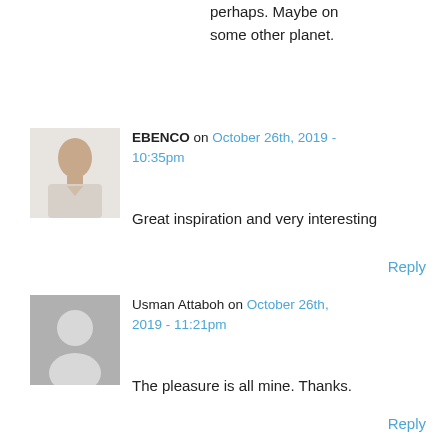perhaps. Maybe on some other planet.
EBENCO on October 26th, 2019 - 10:35pm
Great inspiration and very interesting
Reply
[Figure (photo): Profile photo of EBENCO, a man in a light shirt]
Usman Attaboh on October 26th, 2019 - 11:21pm
The pleasure is all mine. Thanks.
Reply
[Figure (illustration): Default grey silhouette user avatar placeholder]